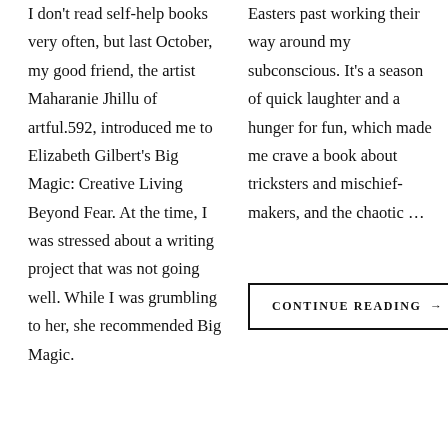I don't read self-help books very often, but last October, my good friend, the artist Maharanie Jhillu of artful.592, introduced me to Elizabeth Gilbert's Big Magic: Creative Living Beyond Fear. At the time, I was stressed about a writing project that was not going well. While I was grumbling to her, she recommended Big Magic.
Easters past working their way around my subconscious. It's a season of quick laughter and a hunger for fun, which made me crave a book about tricksters and mischief-makers, and the chaotic ...
CONTINUE READING →